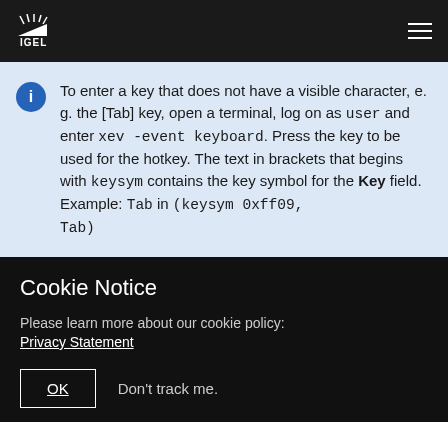IGEL
To enter a key that does not have a visible character, e. g. the [Tab] key, open a terminal, log on as user and enter xev -event keyboard. Press the key to be used for the hotkey. The text in brackets that begins with keysym contains the key symbol for the Key field. Example: Tab in (keysym 0xff09, Tab)
Cookie Notice
Please learn more about our cookie policy:
Privacy Statement
OK    Don't track me.